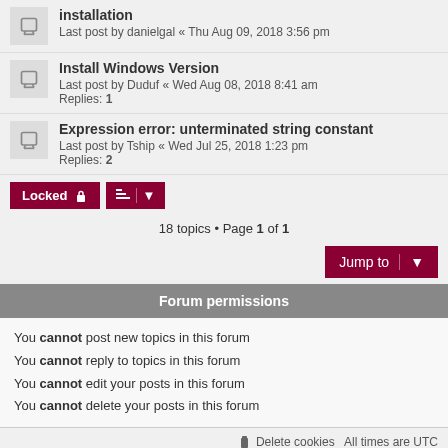installation
Last post by danielgal « Thu Aug 09, 2018 3:56 pm
Install Windows Version
Last post by Duduf « Wed Aug 08, 2018 8:41 am
Replies: 1
Expression error: unterminated string constant
Last post by Tship « Wed Jul 25, 2018 1:23 pm
Replies: 2
18 topics • Page 1 of 1
You cannot post new topics in this forum
You cannot reply to topics in this forum
You cannot edit your posts in this forum
You cannot delete your posts in this forum
Delete cookies  All times are UTC
Powered by phpBB® Forum Software © phpBB Limited
Style proflat © 2017 Mazeltof